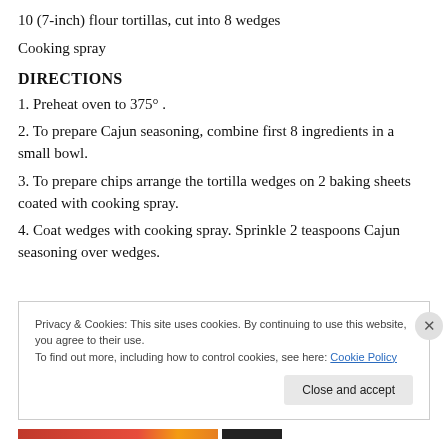10 (7-inch) flour tortillas, cut into 8 wedges
Cooking spray
DIRECTIONS
1. Preheat oven to 375°.
2. To prepare Cajun seasoning, combine first 8 ingredients in a small bowl.
3. To prepare chips arrange the tortilla wedges on 2 baking sheets coated with cooking spray.
4. Coat wedges with cooking spray. Sprinkle 2 teaspoons Cajun seasoning over wedges.
Privacy & Cookies: This site uses cookies. By continuing to use this website, you agree to their use. To find out more, including how to control cookies, see here: Cookie Policy